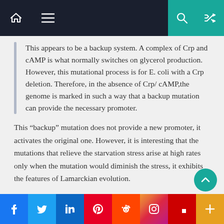[Navigation bar with home, menu, search, and shuffle icons]
This appears to be a backup system. A complex of Crp and cAMP is what normally switches on glycerol production. However, this mutational process is for E. coli with a Crp deletion. Therefore, in the absence of Crp/ cAMP,the genome is marked in such a way that a backup mutation can provide the necessary promoter.
This “backup” mutation does not provide a new promoter, it activates the original one. However, it is interesting that the mutations that relieve the starvation stress arise at high rates only when the mutation would diminish the stress, it exhibits the features of Lamarckian evolution.
[Social share bar: Facebook, Twitter, LinkedIn, Pinterest, Reddit, Instagram, Flipboard, More]